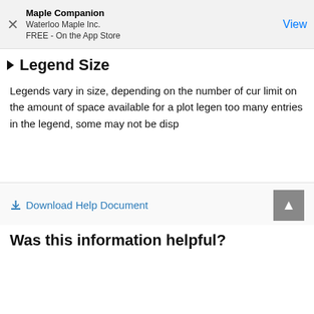Maple Companion
Waterloo Maple Inc.
FREE - On the App Store
View
Legend Size
Legends vary in size, depending on the number of cur... limit on the amount of space available for a plot legen... too many entries in the legend, some may not be disp...
Download Help Document
Was this information helpful?